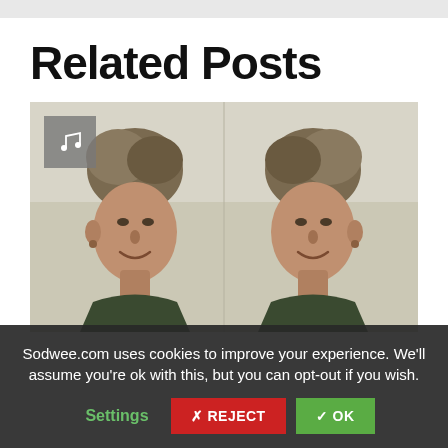Related Posts
[Figure (photo): A mirrored photograph of a smiling woman with short grey/brown hair, shown twice side by side as a mirror image. A small music icon box appears in the top-left corner of the image.]
Sodwee.com uses cookies to improve your experience. We'll assume you're ok with this, but you can opt-out if you wish.
Settings  ✗ REJECT  ✓ OK